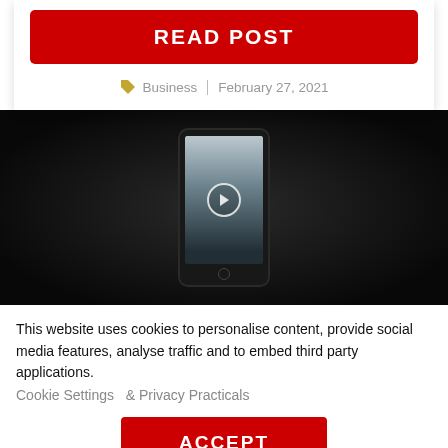READ POST
Business | February 27, 2021
[Figure (photo): Dark background video player section with a phone/tablet frame showing a man in a dark suit with a play button overlay]
This website uses cookies to personalise content, provide social media features, analyse traffic and to embed third party applications.
Cookie Settings  & Privacy Practicals
ACCEPT